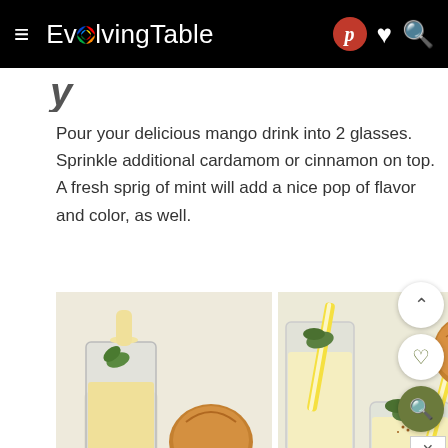EvolvingTable
y
Pour your delicious mango drink into 2 glasses. Sprinkle additional cardamom or cinnamon on top. A fresh sprig of mint will add a nice pop of flavor and color, as well.
[Figure (photo): Mango smoothie being poured into a glass, with mango pieces and another glass in background]
[Figure (photo): Two glasses of mango lassi with yellow striped straws and mint garnish, mangoes in background, number 55 overlay]